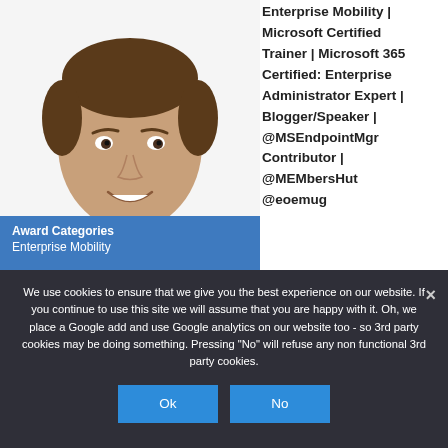[Figure (photo): Headshot of a man in a black shirt, smiling, against a white background]
Enterprise Mobility | Microsoft Certified Trainer | Microsoft 365 Certified: Enterprise Administrator Expert | Blogger/Speaker | @MSEndpointMgr Contributor | @MEMbersHut @eoemug
Award Categories
Enterprise Mobility
We use cookies to ensure that we give you the best experience on our website. If you continue to use this site we will assume that you are happy with it. Oh, we place a Google add and use Google analytics on our website too - so 3rd party cookies may be doing something. Pressing "No" will refuse any non functional 3rd party cookies.